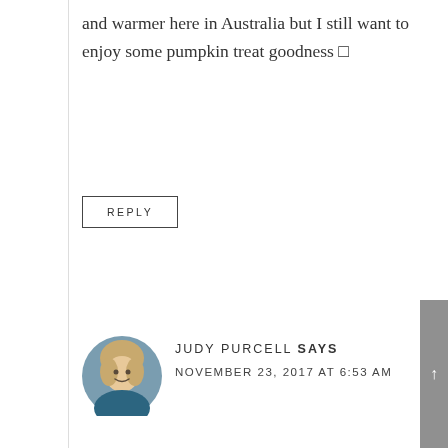and warmer here in Australia but I still want to enjoy some pumpkin treat goodness 🔲
REPLY
[Figure (photo): Circular avatar photo of a blonde woman (Judy Purcell) in a blue top, with soft background]
JUDY PURCELL SAYS
NOVEMBER 23, 2017 AT 6:53 AM
★★★★★
I often wish I could just have a small bit of dessert without having to share a slice of pie with someone else. I don't mind sharing, but it's so nice to have the choice of just a few bites. Great idea!